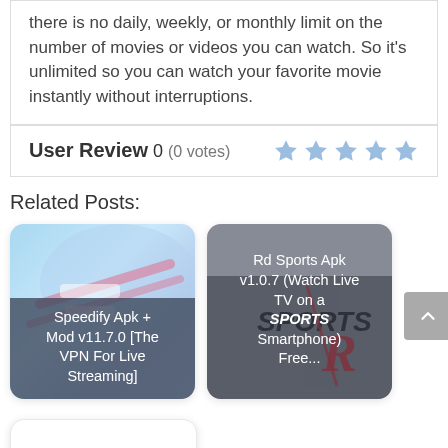there is no daily, weekly, or monthly limit on the number of movies or videos you can watch. So it's unlimited so you can watch your favorite movie instantly without interruptions.
User Review 0 (0 votes)
Related Posts:
[Figure (screenshot): App card for Speedify Apk + Mod v11.7.0 [The VPN For Live Streaming]]
[Figure (screenshot): App card for Rd Sports Apk v1.0.7 (Watch Live TV on a Smartphone) Free...]
[Figure (screenshot): Partially visible third card stub]